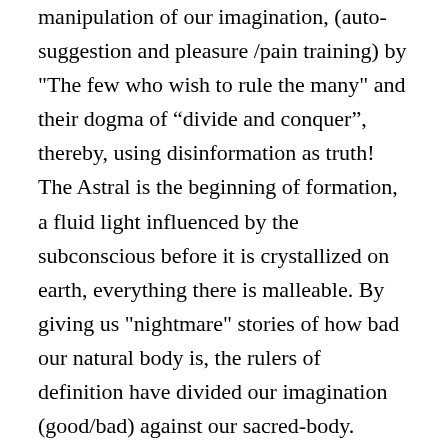manipulation of our imagination, (auto-suggestion and pleasure /pain training) by "The few who wish to rule the many" and their dogma of “divide and conquer”, thereby, using disinformation as truth! The Astral is the beginning of formation, a fluid light influenced by the subconscious before it is crystallized on earth, everything there is malleable. By giving us "nightmare" stories of how bad our natural body is, the rulers of definition have divided our imagination (good/bad) against our sacred-body. Therefore, you forgot the Homo Sapiens body is a god of its domain and you are the Daemon Force (God-Man in Greek) that keeps it breathing. In fact the word "human" is two words: The Word